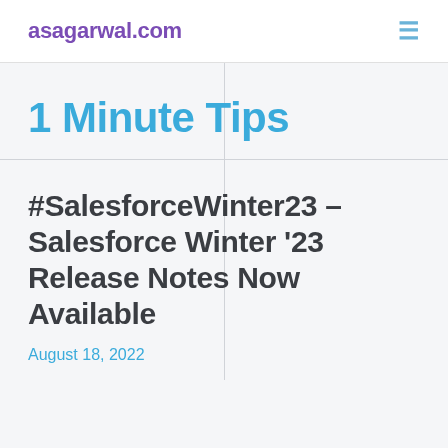asagarwal.com
1 Minute Tips
#SalesforceWinter23 – Salesforce Winter '23 Release Notes Now Available
August 18, 2022